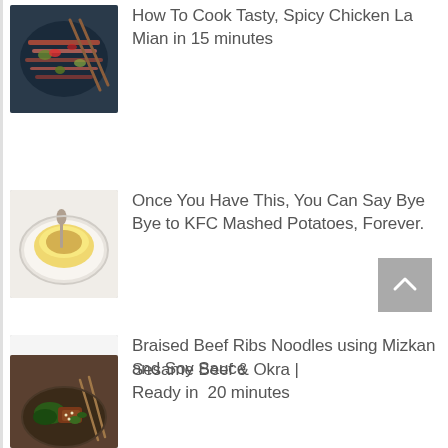How To Cook Tasty, Spicy Chicken La Mian in 15 minutes
Once You Have This, You Can Say Bye Bye to KFC Mashed Potatoes, Forever.
Braised Beef Ribs Noodles using Mizkan and Soy Sauce
Sesame Beef & Okra | Ready in  20 minutes